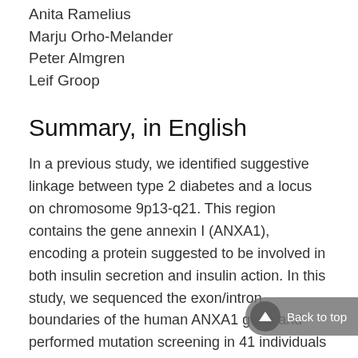Anita Ramelius
Marju Orho-Melander
Peter Almgren
Leif Groop
Summary, in English
In a previous study, we identified suggestive linkage between type 2 diabetes and a locus on chromosome 9p13-q21. This region contains the gene annexin I (ANXA1), encoding a protein suggested to be involved in both insulin secretion and insulin action. In this study, we sequenced the exon/intron boundaries of the human ANXA1 gene and performed mutation screening in 41 individuals from the initial linkage study. We identified five single nucleotide polymorphisms A59G, A401G, intronic variance sequence (IVS)8-28A/G, IVS11 +31A/G,